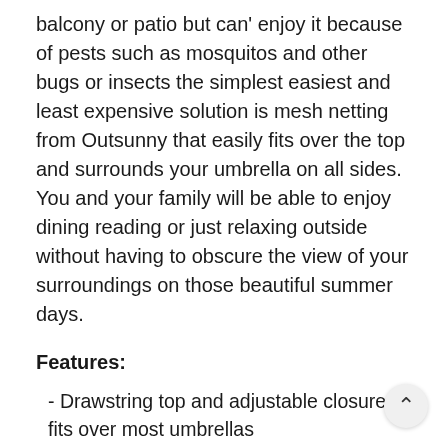balcony or patio but can' enjoy it because of pests such as mosquitos and other bugs or insects the simplest easiest and least expensive solution is mesh netting from Outsunny that easily fits over the top and surrounds your umbrella on all sides. You and your family will be able to enjoy dining reading or just relaxing outside without having to obscure the view of your surroundings on those beautiful summer days.
Features:
- Drawstring top and adjustable closure fits over most umbrellas
- Durable close-woven mesh netting keeps the smallest pests out
- Large zippered entrance allows for easy access to the inside